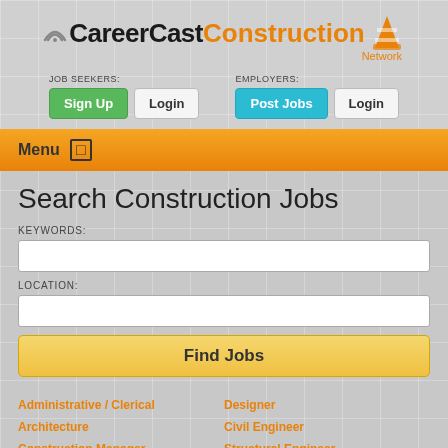[Figure (logo): CareerCastConstruction Network logo with wifi icon and orange construction cone]
JOB SEEKERS: Sign Up | Login    EMPLOYERS: Post Jobs | Login
Menu
Search Construction Jobs
KEYWORDS:
LOCATION:
Find Jobs
Administrative / Clerical
Architecture
Construction Manager
Designer
Civil Engineer
Structural Engineer